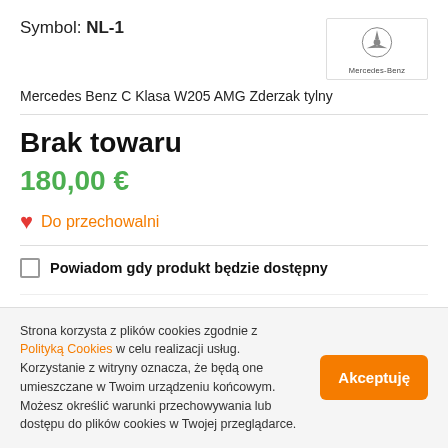Symbol: NL-1
[Figure (logo): Mercedes-Benz logo with three-pointed star and brand name]
Mercedes Benz C Klasa W205 AMG Zderzak tylny
Brak towaru
180,00 €
Do przechowalni
Powiadom gdy produkt będzie dostępny
Wysyłka w ciągu    48 godzin
Strona korzysta z plików cookies zgodnie z Polityką Cookies w celu realizacji usług. Korzystanie z witryny oznacza, że będą one umieszczane w Twoim urządzeniu końcowym. Możesz określić warunki przechowywania lub dostępu do plików cookies w Twojej przeglądarce.